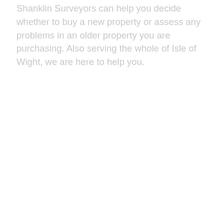Shanklin Surveyors can help you decide whether to buy a new property or assess any problems in an older property you are purchasing. Also serving the whole of Isle of Wight, we are here to help you.